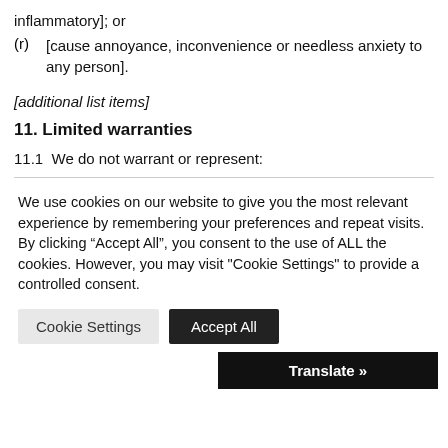inflammatory]; or
(r)    [cause annoyance, inconvenience or needless anxiety to any person].
[additional list items]
11. Limited warranties
11.1  We do not warrant or represent:
We use cookies on our website to give you the most relevant experience by remembering your preferences and repeat visits. By clicking “Accept All”, you consent to the use of ALL the cookies. However, you may visit "Cookie Settings" to provide a controlled consent.
Cookie Settings   Accept All
Translate »